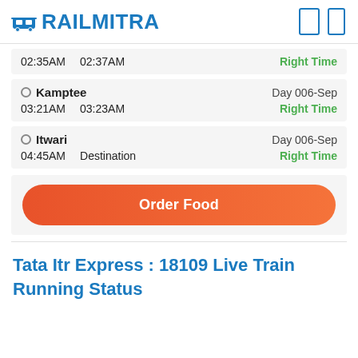RAILMITRA
02:35AM   02:37AM   Right Time
Kamptee   Day 006-Sep   03:21AM   03:23AM   Right Time
Itwari   Day 006-Sep   04:45AM   Destination   Right Time
Order Food
Tata Itr Express : 18109 Live Train Running Status